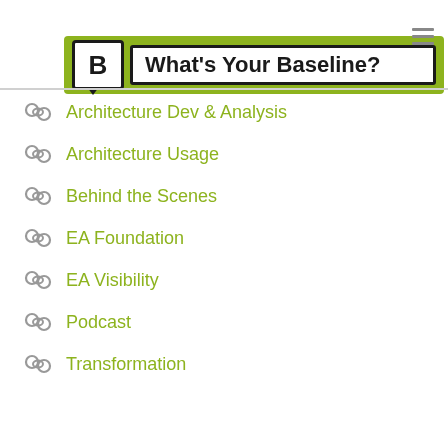What's Your Baseline?
Architecture Dev & Analysis
Architecture Usage
Behind the Scenes
EA Foundation
EA Visibility
Podcast
Transformation